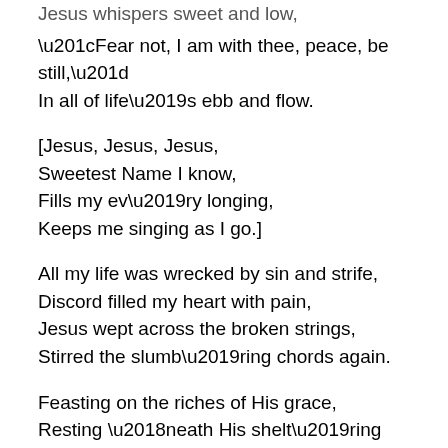Jesus whispers sweet and low,
“Fear not, I am with thee, peace, be still,”
In all of life’s ebb and flow.
[Jesus, Jesus, Jesus,
Sweetest Name I know,
Fills my ev’ry longing,
Keeps me singing as I go.]
All my life was wrecked by sin and strife,
Discord filled my heart with pain,
Jesus wept across the broken strings,
Stirred the slumb’ring chords again.
Feasting on the riches of His grace,
Resting ‘neath His shelt’ring wing,
Always looking on His smiling face,
That is why I shout and sing.